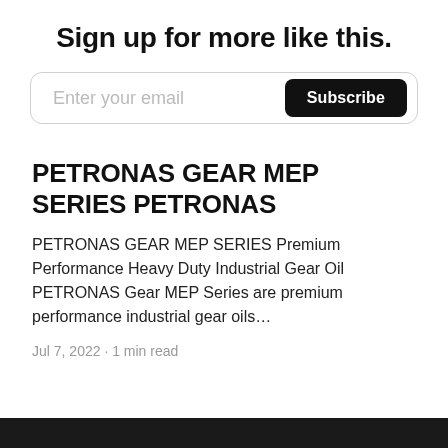Sign up for more like this.
Enter your email  Subscribe
PETRONAS GEAR MEP SERIES PETRONAS
PETRONAS GEAR MEP SERIES Premium Performance Heavy Duty Industrial Gear Oil PETRONAS Gear MEP Series are premium performance industrial gear oils…
Jul 7, 2022 · 1 min read